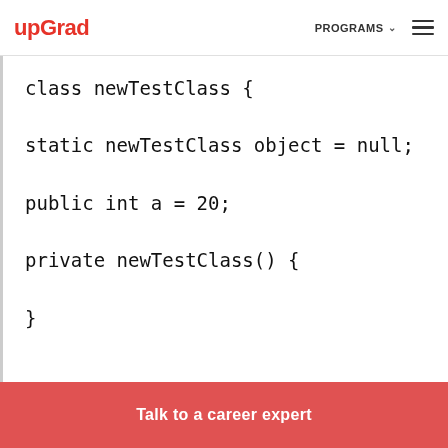upGrad  PROGRAMS  ☰
[Figure (screenshot): Code block showing a Java class definition: class newTestClass { static newTestClass object = null; public int a = 20; private newTestClass() { } }]
Talk to a career expert